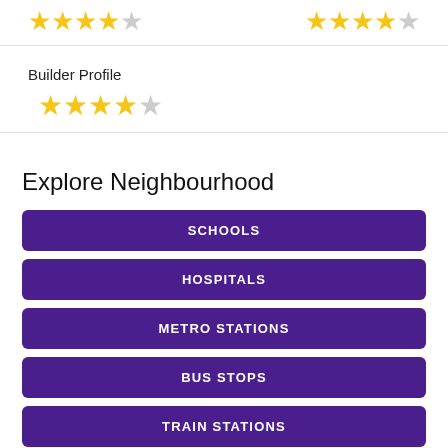[Figure (other): Two rows of star ratings at the top: left group shows 4.5 stars (4 gold, 1 half/gray), right group shows 4.5 stars (4 gold, 1 half/gray)]
Builder Profile
[Figure (other): Star rating for Builder Profile: 4 gold stars and 1 gray star]
Explore Neighbourhood
SCHOOLS
HOSPITALS
METRO STATIONS
BUS STOPS
TRAIN STATIONS
SHOPPING MALLS